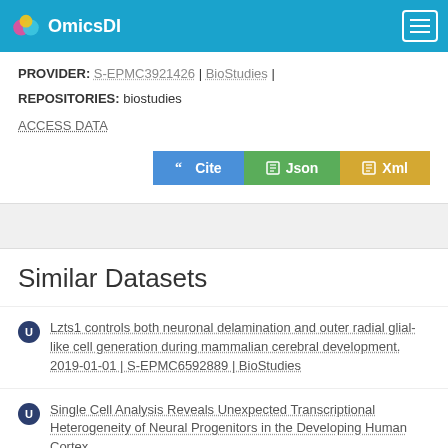OmicsDI
PROVIDER: S-EPMC3921426 | BioStudies |
REPOSITORIES: biostudies
ACCESS DATA
Similar Datasets
Lzts1 controls both neuronal delamination and outer radial glial-like cell generation during mammalian cerebral development. 2019-01-01 | S-EPMC6592889 | BioStudies
Single Cell Analysis Reveals Unexpected Transcriptional Heterogeneity of Neural Progenitors in the Developing Human Cortex